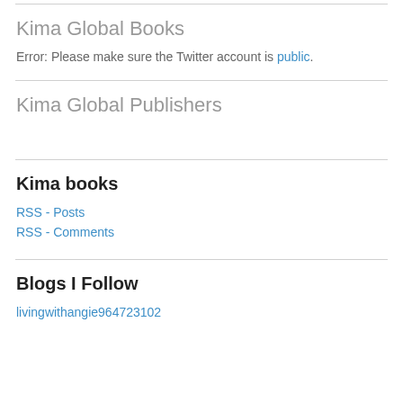Kima Global Books
Error: Please make sure the Twitter account is public.
Kima Global Publishers
Kima books
RSS - Posts
RSS - Comments
Blogs I Follow
livingwithangie964723102